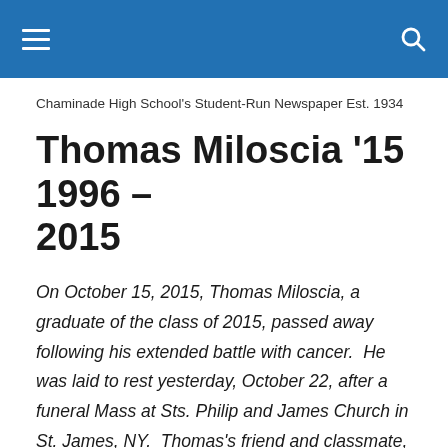Chaminade High School's Student-Run Newspaper Est. 1934
Thomas Miloscia '15 1996 – 2015
On October 15, 2015, Thomas Miloscia, a graduate of the class of 2015, passed away following his extended battle with cancer.  He was laid to rest yesterday, October 22, after a funeral Mass at Sts. Philip and James Church in St. James, NY.  Thomas's friend and classmate, Tobias Hoonhout '15, prepared and delivered the following eulogy at yesterday's Mass.  May those members of the class of